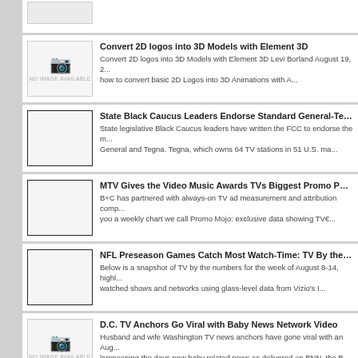[Figure (screenshot): Partial article card at top, thumbnail image placeholder visible]
Convert 2D logos into 3D Models with Element 3D — Convert 2D logos into 3D Models with Element 3D Levi Borland August 19, 2... how to convert basic 2D Logos into 3D Animations with A...
State Black Caucus Leaders Endorse Standard General-Tegna — State legislative Black Caucus leaders have written the FCC to endorse the m... General and Tegna. Tegna, which owns 64 TV stations in 51 U.S. ma...
MTV Gives the Video Music Awards TVs Biggest Promo Push — B+C has partnered with always-on TV ad measurement and attribution comp... you a weekly chart we call Promo Mojo: exclusive data showing TV...
NFL Preseason Games Catch Most Watch-Time: TV By the Numbe... — Below is a snapshot of TV by the numbers for the week of August 8-14, highl... watched shows and networks using glass-level data from Vizio's I...
D.C. TV Anchors Go Viral with Baby News Network Video — Husband and wife Washington TV news anchors have gone viral with an Aug... lampooning the days new baby related news as delivered on BNN, the B...
Streamings Share of TV Viewing Tops Cable for First Time: Nielse... — Streaming TV is now number one, with its share of viewing in July topping ca... according to new figures from Nielsen....
[Figure (screenshot): Partial article card at bottom, thumbnail image placeholder visible]